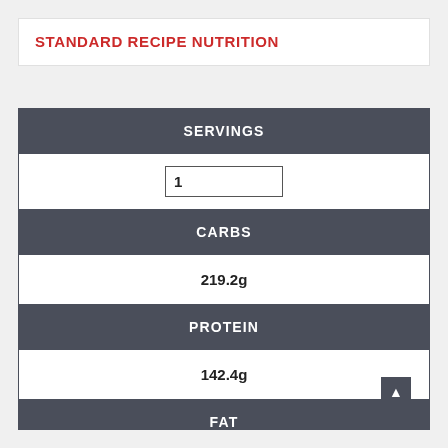STANDARD RECIPE NUTRITION
| Category | Value |
| --- | --- |
| SERVINGS | 1 |
| CARBS | 219.2g |
| PROTEIN | 142.4g |
| FAT | 57.8g |